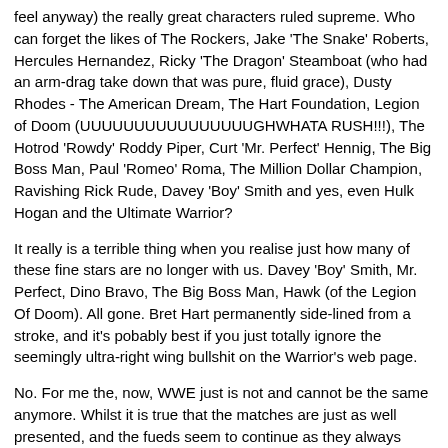feel anyway) the really great characters ruled supreme. Who can forget the likes of The Rockers, Jake 'The Snake' Roberts, Hercules Hernandez, Ricky 'The Dragon' Steamboat (who had an arm-drag take down that was pure, fluid grace), Dusty Rhodes - The American Dream, The Hart Foundation, Legion of Doom (UUUUUUUUUUUUUUUUGHWHATA RUSH!!!), The Hotrod 'Rowdy' Roddy Piper, Curt 'Mr. Perfect' Hennig, The Big Boss Man, Paul 'Romeo' Roma, The Million Dollar Champion, Ravishing Rick Rude, Davey 'Boy' Smith and yes, even Hulk Hogan and the Ultimate Warrior?
It really is a terrible thing when you realise just how many of these fine stars are no longer with us. Davey 'Boy' Smith, Mr. Perfect, Dino Bravo, The Big Boss Man, Hawk (of the Legion Of Doom). All gone. Bret Hart permanently side-lined from a stroke, and it's pobably best if you just totally ignore the seemingly ultra-right wing bullshit on the Warrior's web page.
No. For me the, now, WWE just is not and cannot be the same anymore. Whilst it is true that the matches are just as well presented, and the fueds seem to continue as they always have, it just seems to be too much Tits-And-Ass for my taste. It appealed to me in the past because I have always had a love of comic book heroes (you can imagine how much I am enjoying the current slew of hero movies already here and coming up) and what are these massively muscled people if they are not indestructable super heroes and super villans?
I have just never got past them selling the WWE with blatant sexuality.
I am not even sure if it can go back to how it was anymore. In my